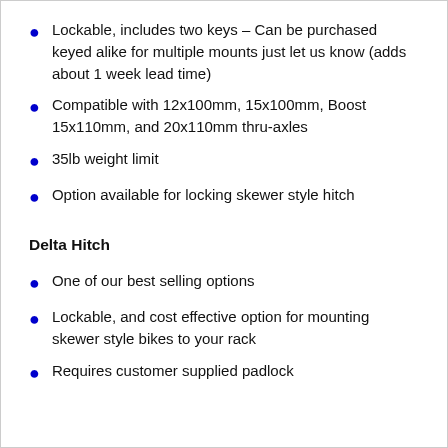Lockable, includes two keys – Can be purchased keyed alike for multiple mounts just let us know (adds about 1 week lead time)
Compatible with 12x100mm, 15x100mm, Boost 15x110mm, and 20x110mm thru-axles
35lb weight limit
Option available for locking skewer style hitch
Delta Hitch
One of our best selling options
Lockable, and cost effective option for mounting skewer style bikes to your rack
Requires customer supplied padlock